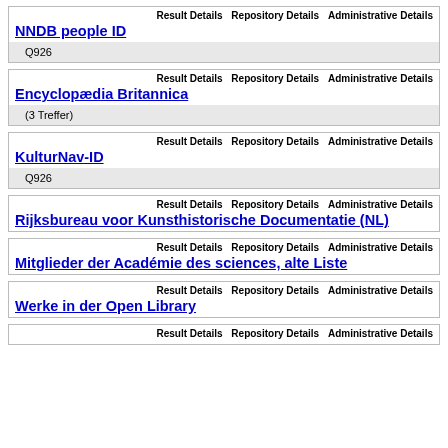| Result Details | Repository Details | Administrative Details |
| --- | --- | --- |
| NNDB people ID |
| Q926 |
| Result Details | Repository Details | Administrative Details |
| --- | --- | --- |
| Encyclopædia Britannica |
| (3 Treffer) |
| Result Details | Repository Details | Administrative Details |
| --- | --- | --- |
| KulturNav-ID |
| Q926 |
| Result Details | Repository Details | Administrative Details |
| --- | --- | --- |
| Rijksbureau voor Kunsthistorische Documentatie (NL) |
| Result Details | Repository Details | Administrative Details |
| --- | --- | --- |
| Mitglieder der Académie des sciences, alte Liste |
| Result Details | Repository Details | Administrative Details |
| --- | --- | --- |
| Werke in der Open Library |
| Result Details | Repository Details | Administrative Details |
| --- | --- | --- |
| ... |